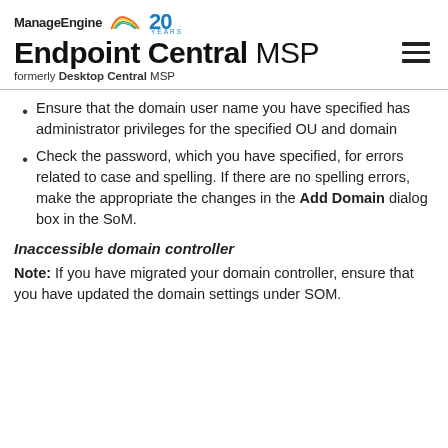ManageEngine 20 YEARS — Endpoint Central MSP, formerly Desktop Central MSP
Ensure that the domain user name you have specified has administrator privileges for the specified OU and domain
Check the password, which you have specified, for errors related to case and spelling. If there are no spelling errors, make the appropriate the changes in the Add Domain dialog box in the SoM.
Inaccessible domain controller
Note: If you have migrated your domain controller, ensure that you have updated the domain settings under SOM.